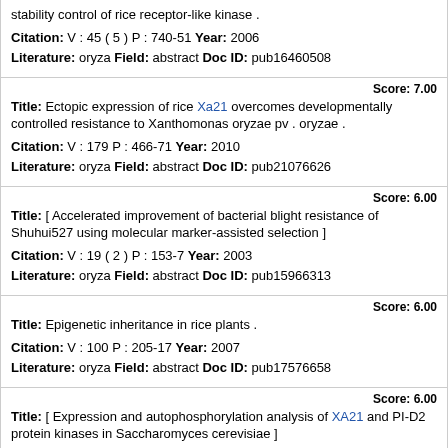stability control of rice receptor-like kinase . Citation: V : 45 ( 5 ) P : 740-51 Year: 2006 Literature: oryza Field: abstract Doc ID: pub16460508
Score: 7.00 Title: Ectopic expression of rice Xa21 overcomes developmentally controlled resistance to Xanthomonas oryzae pv . oryzae . Citation: V : 179 P : 466-71 Year: 2010 Literature: oryza Field: abstract Doc ID: pub21076626
Score: 6.00 Title: [ Accelerated improvement of bacterial blight resistance of Shuhui527 using molecular marker-assisted selection ] Citation: V : 19 ( 2 ) P : 153-7 Year: 2003 Literature: oryza Field: abstract Doc ID: pub15966313
Score: 6.00 Title: Epigenetic inheritance in rice plants . Citation: V : 100 P : 205-17 Year: 2007 Literature: oryza Field: abstract Doc ID: pub17576658
Score: 6.00 Title: [ Expression and autophosphorylation analysis of XA21 and PI-D2 protein kinases in Saccharomyces cerevisiae ] Citation: V : 47 P : 1009-12 Year: 2007 Literature: oryza Field: abstract Doc ID: pub18271255